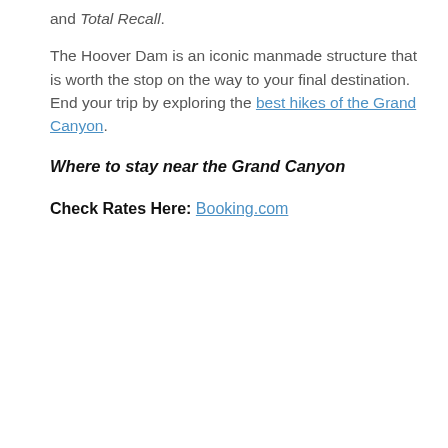and Total Recall.
The Hoover Dam is an iconic manmade structure that is worth the stop on the way to your final destination. End your trip by exploring the best hikes of the Grand Canyon.
Where to stay near the Grand Canyon
Check Rates Here: Booking.com